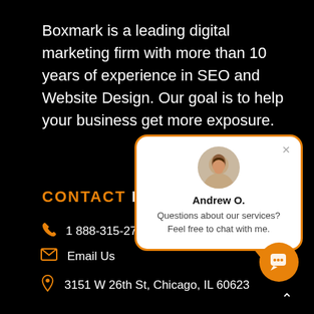Boxmark is a leading digital marketing firm with more than 10 years of experience in SEO and Website Design. Our goal is to help your business get more exposure.
CONTACT DE…
1 888-315-2721
Email Us
3151 W 26th St, Chicago, IL 60623
[Figure (screenshot): Chat widget popup showing agent Andrew O. with avatar photo and message: Questions about our services? Feel free to chat with me. Orange border chat bubble with close button.]